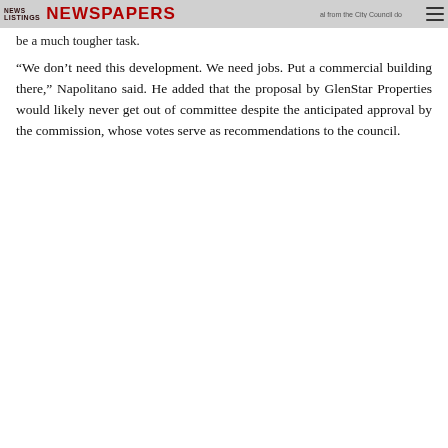NEWS LISTINGS | Chicago Newspapers
be a much tougher task.
“We don’t need this development. We need jobs. Put a commercial building there,” Napolitano said. He added that the proposal by GlenStar Properties would likely never get out of committee despite the anticipated approval by the commission, whose votes serve as recommendations to the council.